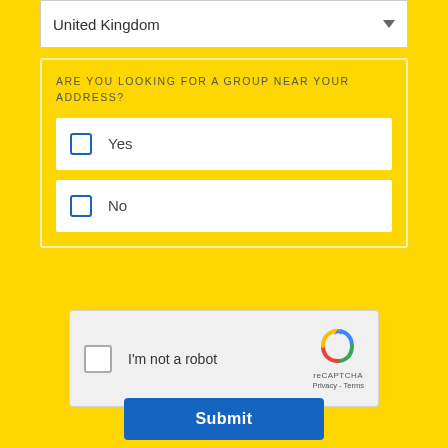United Kingdom
ARE YOU LOOKING FOR A GROUP NEAR YOUR ADDRESS?
Yes
No
I'm not a robot
reCAPTCHA Privacy - Terms
Submit